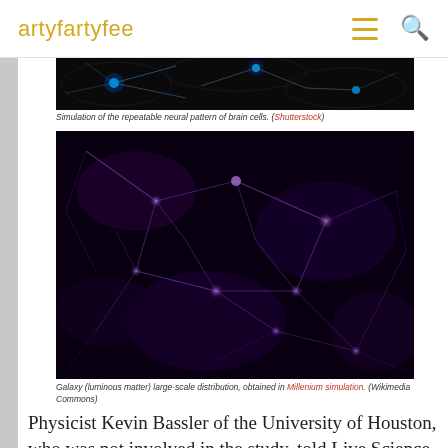artyfartyfee
[Figure (photo): Partial view of a simulation of neural pattern of brain cells — glowing blue neurons on black background]
Simulation of the repeatable neural pattern of brain cells. (Shutterstock)
[Figure (photo): Galaxy (luminous matter) large-scale distribution — purple and pink cosmic web filaments on black background, Millenium simulation]
Galaxy (luminous matter) large-scale distribution, obtained in Millenium simulation. (Wikimedia Commons)
Physicist Kevin Bassler of the University of Houston, who was not involved in the study, told Live Science that the study suggests a fundamental law governing these networks.